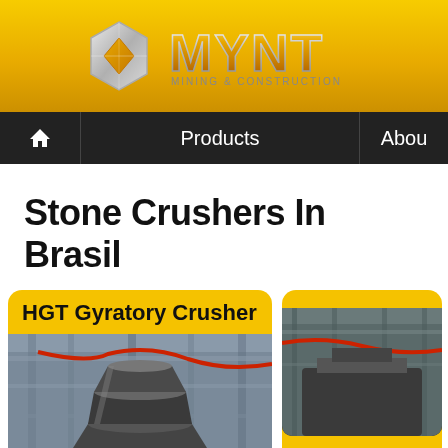[Figure (logo): MYNT Mining & Construction logo with diamond-shaped icon and gold metallic text]
Home | Products | About
Stone Crushers In Brasil
HGT Gyratory Crusher
[Figure (photo): Photo of an HGT Gyratory Crusher inside an industrial facility]
[Figure (photo): Partial photo of a second crusher product card (cut off at right edge)]